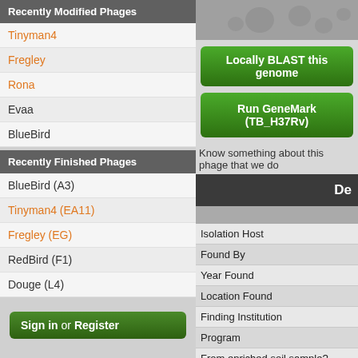Recently Modified Phages
Tinyman4
Fregley
Rona
Evaa
BlueBird
Recently Finished Phages
BlueBird (A3)
Tinyman4 (EA11)
Fregley (EG)
RedBird (F1)
Douge (L4)
Sign in or Register
[Figure (photo): Microscopy image showing phage plaques on bacterial lawn]
Locally BLAST this genome
Run GeneMark (TB_H37Rv)
Know something about this phage that we do
De
Isolation Host
Found By
Year Found
Location Found
Finding Institution
Program
From enriched soil sample?